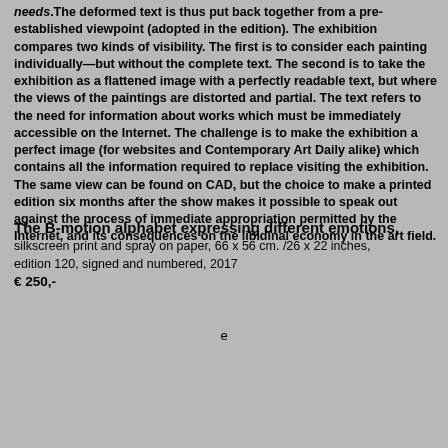needs. The deformed text is thus put back together from a pre-established viewpoint (adopted in the edition). The exhibition compares two kinds of visibility. The first is to consider each painting individually—but without the complete text. The second is to take the exhibition as a flattened image with a perfectly readable text, but where the views of the paintings are distorted and partial. The text refers to the need for information about works which must be immediately accessible on the Internet. The challenge is to make the exhibition a perfect image (for websites and Contemporary Art Daily alike) which contains all the information required to replace visiting the exhibition. The same view can be found on CAD, but the choice to make a printed edition six months after the show makes it possible to speak out against the process of immediate appropriation permitted by the Internet, and its consequences on the libidinal economy in the art field.
The B-motion alphabet expressing different emotions, silkscreen print and spray on paper, 66 x 56 cm. /26 x 22 inches, edition 120, signed and numbered, 2017 € 250,-
e